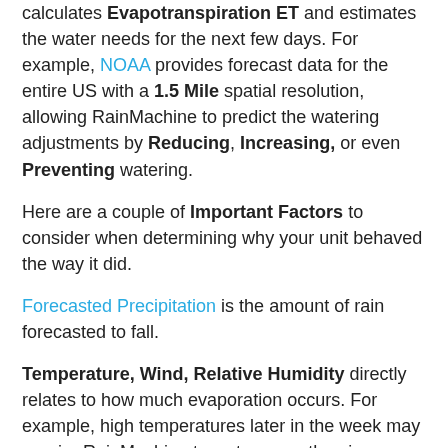calculates Evapotranspiration ET and estimates the water needs for the next few days. For example, NOAA provides forecast data for the entire US with a 1.5 Mile spatial resolution, allowing RainMachine to predict the watering adjustments by Reducing, Increasing, or even Preventing watering.
Here are a couple of Important Factors to consider when determining why your unit behaved the way it did.
Forecasted Precipitation is the amount of rain forecasted to fall.
Temperature, Wind, Relative Humidity directly relates to how much evaporation occurs. For example, high temperatures later in the week may require RainMachine to water more than in previous days.
Freeze Protect can prevent the RainMachine from watering if the temperature goes below a certain